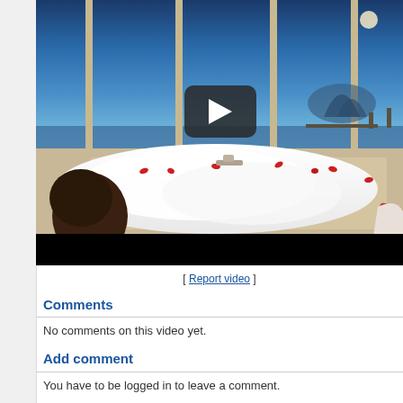[Figure (screenshot): Video player showing two people in a bubble bath with rose petals. Large windows in background show a waterfront view at dusk/night with a pier and structure visible. A play button overlay is centered on the video. A black bar appears at the bottom of the player.]
[ Report video ]
Comments
No comments on this video yet.
Add comment
You have to be logged in to leave a comment.